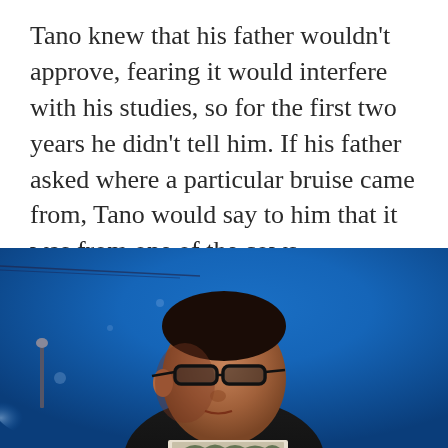Tano knew that his father wouldn't approve, fearing it would interfere with his studies, so for the first two years he didn't tell him. If his father asked where a particular bruise came from, Tano would say to him that it was from one of the cows.
[Figure (photo): A man with glasses looking upward against a vivid blue sky background, photographed from a low angle. He appears to be middle-aged, wearing a dark shirt. The image is shot in a dramatic, journalistic style.]